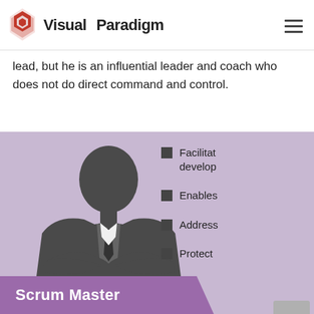Visual Paradigm
lead, but he is an influential leader and coach who does not do direct command and control.
[Figure (infographic): Scrum Master infographic with a silhouette of a businessman in a suit with arms crossed on a purple/lavender background. Lists bullet points: Facilitat... develop..., Enables, Address, Protect, Remove. A 'Scrum Master' label banner at the bottom. A scroll-to-top button overlay.]